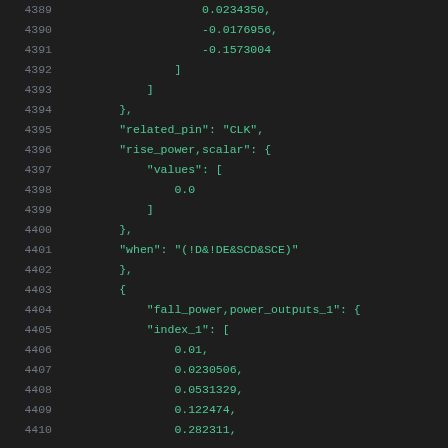Code listing lines 4389-4410 showing JSON-like data structure with fall_power, rise_power, related_pin, when fields and numeric values